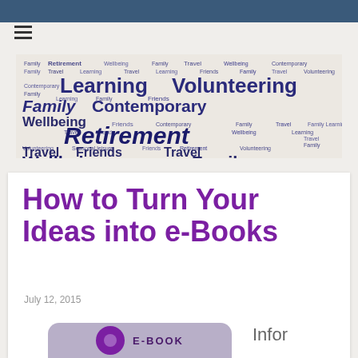[Figure (infographic): Word cloud banner with retirement-related terms: Learning, Volunteering, Contemporary, Family, Retirement, Travel, Friends, Wellbeing in varying sizes and dark blue/navy colors on a light background]
How to Turn Your Ideas into e-Books
July 12, 2015
[Figure (illustration): Partial view of an e-book graphic with purple rounded rectangle and text 'E-BOOK' partially visible, alongside partial text 'Infor...' on the right]